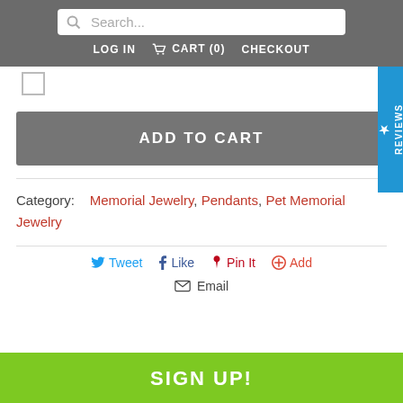Search... | LOG IN  CART (0)  CHECKOUT
[Figure (screenshot): Checkbox (unchecked)]
ADD TO CART
Category: Memorial Jewelry, Pendants, Pet Memorial Jewelry
Tweet  Like  Pin It  Add
Email
SIGN UP!